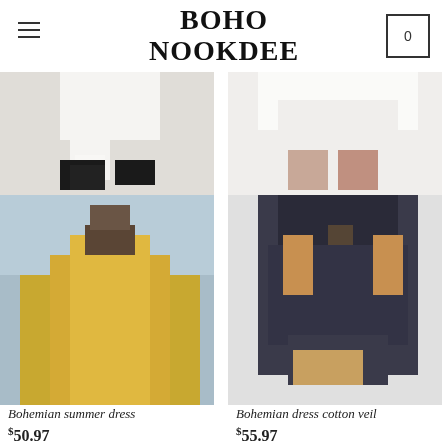BOHO NOOKDEE
[Figure (photo): Bohemian chic long cocktail dress product photo - white/light dress with black boots]
[Figure (photo): White bohemian hippie dress product photo - white dress partial view]
Bohemian chic long cocktail dress
$45.97
White bohemian hippie dress
$45.97
[Figure (photo): Bohemian summer dress - woman in yellow/mustard bohemian dress in a field]
[Figure (photo): Bohemian dress cotton veil - dark navy embroidered dress with brown crossbody bag]
Bohemian summer dress
$50.97
Bohemian dress cotton veil
$55.97